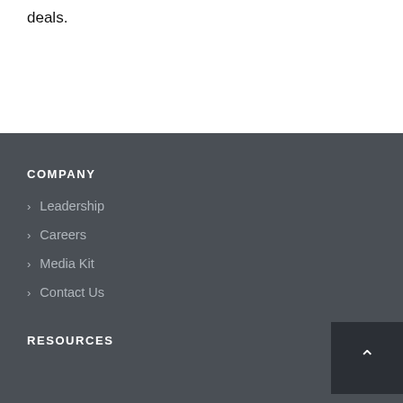deals.
COMPANY
Leadership
Careers
Media Kit
Contact Us
RESOURCES